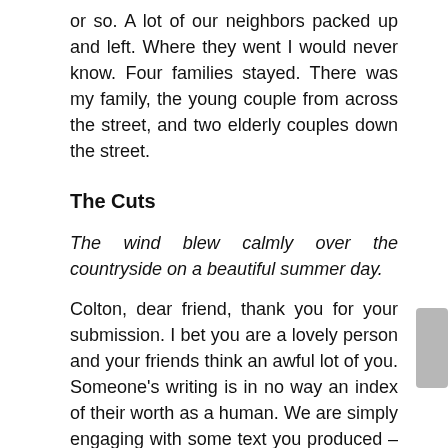or so. A lot of our neighbors packed up and left. Where they went I would never know. Four families stayed. There was my family, the young couple from across the street, and two elderly couples down the street.
The Cuts
The wind blew calmly over the countryside on a beautiful summer day.
Colton, dear friend, thank you for your submission. I bet you are a lovely person and your friends think an awful lot of you. Someone’s writing is in no way an index of their worth as a human. We are simply engaging with some text you produced – something separate from you, something